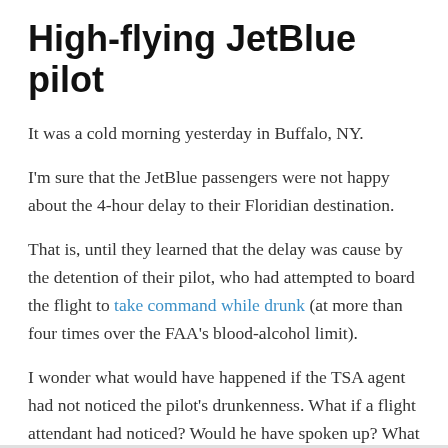High-flying JetBlue pilot
It was a cold morning yesterday in Buffalo, NY.
I'm sure that the JetBlue passengers were not happy about the 4-hour delay to their Floridian destination.
That is, until they learned that the delay was cause by the detention of their pilot, who had attempted to board the flight to take command while drunk (at more than four times over the FAA's blood-alcohol limit).
I wonder what would have happened if the TSA agent had not noticed the pilot's drunkenness. What if a flight attendant had noticed? Would he have spoken up? What if the co-pilot had noticed? Would she have spoken up?